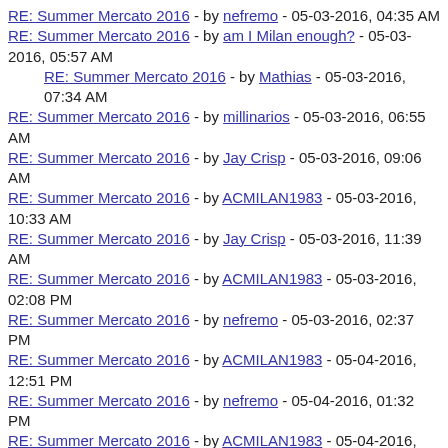RE: Summer Mercato 2016 - by nefremo - 05-03-2016, 04:35 AM
RE: Summer Mercato 2016 - by am I Milan enough? - 05-03-2016, 05:57 AM
RE: Summer Mercato 2016 - by Mathias - 05-03-2016, 07:34 AM
RE: Summer Mercato 2016 - by millinarios - 05-03-2016, 06:55 AM
RE: Summer Mercato 2016 - by Jay Crisp - 05-03-2016, 09:06 AM
RE: Summer Mercato 2016 - by ACMILAN1983 - 05-03-2016, 10:33 AM
RE: Summer Mercato 2016 - by Jay Crisp - 05-03-2016, 11:39 AM
RE: Summer Mercato 2016 - by ACMILAN1983 - 05-03-2016, 02:08 PM
RE: Summer Mercato 2016 - by nefremo - 05-03-2016, 02:37 PM
RE: Summer Mercato 2016 - by ACMILAN1983 - 05-04-2016, 12:51 PM
RE: Summer Mercato 2016 - by nefremo - 05-04-2016, 01:32 PM
RE: Summer Mercato 2016 - by ACMILAN1983 - 05-04-2016, 02:03 PM
RE: Summer Mercato 2016 - by Jay Crisp - 05-04-2016, 02:22